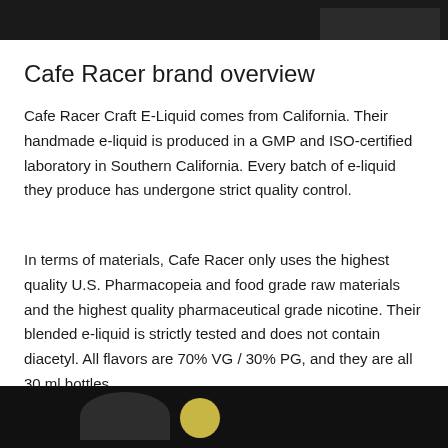[Figure (photo): Partial photo of Cafe Racer product/branding at top of page, dark background]
Cafe Racer brand overview
Cafe Racer Craft E-Liquid comes from California. Their handmade e-liquid is produced in a GMP and ISO-certified laboratory in Southern California. Every batch of e-liquid they produce has undergone strict quality control.
In terms of materials, Cafe Racer only uses the highest quality U.S. Pharmacopeia and food grade raw materials and the highest quality pharmaceutical grade nicotine. Their blended e-liquid is strictly tested and does not contain diacetyl. All flavors are 70% VG / 30% PG, and they are all 30 ml bottles.
[Figure (photo): Partial photo of Cafe Racer product at bottom of page, dark background with yellow/white design elements]